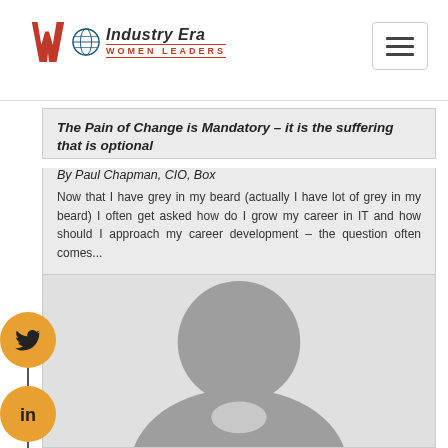Industry Era WOMEN LEADERS
The Pain of Change is Mandatory – it is the suffering that is optional
By Paul Chapman, CIO, Box
Now that I have grey in my beard (actually I have lot of grey in my beard) I often get asked how do I grow my career in IT and how should I approach my career development – the question often comes...
[Figure (photo): Default user avatar placeholder — gray circle head and torso silhouette on light gray background]